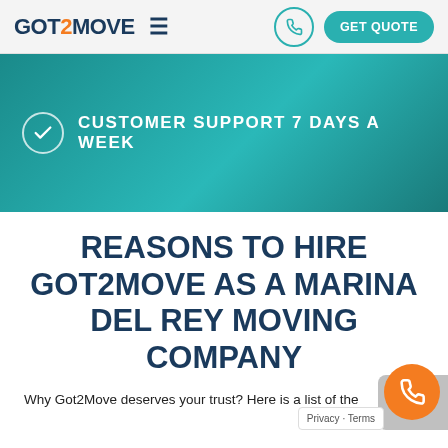GOT2MOVE — GET QUOTE navigation bar
[Figure (screenshot): Teal banner with checkmark circle icon and text CUSTOMER SUPPORT 7 DAYS A WEEK]
REASONS TO HIRE GOT2MOVE AS A MARINA DEL REY MOVING COMPANY
Why Got2Move deserves your trust? Here is a list of the